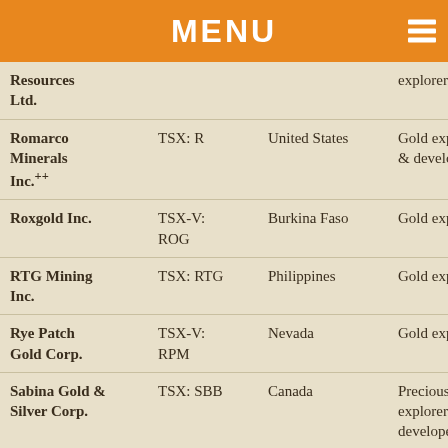MENU
| Company | Ticker | Location | Type |
| --- | --- | --- | --- |
| Resources Ltd. |  |  | explorer |
| Romarco Minerals Inc.++ | TSX: R | United States | Gold explorer & developer |
| Roxgold Inc. | TSX-V: ROG | Burkina Faso | Gold explorer |
| RTG Mining Inc. | TSX: RTG | Philippines | Gold explorer |
| Rye Patch Gold Corp. | TSX-V: RPM | Nevada | Gold explorer |
| Sabina Gold & Silver Corp. | TSX: SBB | Canada | Precious metals explorer & developer |